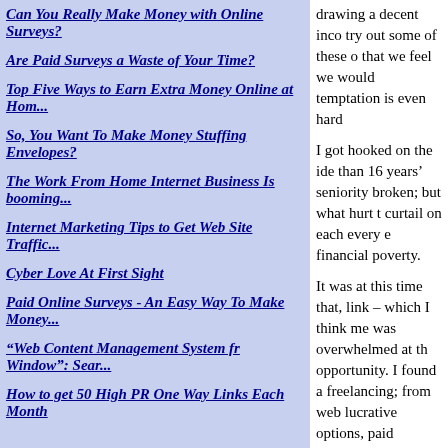Can You Really Make Money with Online Surveys?
Are Paid Surveys a Waste of Your Time?
Top Five Ways to Earn Extra Money Online at Hom...
So, You Want To Make Money Stuffing Envelopes?
The Work From Home Internet Business Is booming...
Internet Marketing Tips to Get Web Site Traffic...
Cyber Love At First Sight
Paid Online Surveys - An Easy Way To Make Money...
“Web Content Management System fr Window”: Sear...
How to get 50 High PR One Way Links Each Month
drawing a decent inco try out some of these o that we feel we would temptation is even hard
I got hooked on the ide than 16 years’ seniority broken; but what hurt t curtail on each every e financial poverty.
It was at this time that, link – which I think me was overwhelmed at th opportunity. I found a freelancing; from web lucrative options, paid
Taking paid surveys is online. I can see the in surveys, you will ask?
That is exactly what I w meaning of earning at part. Money! How mu believe when I tell you